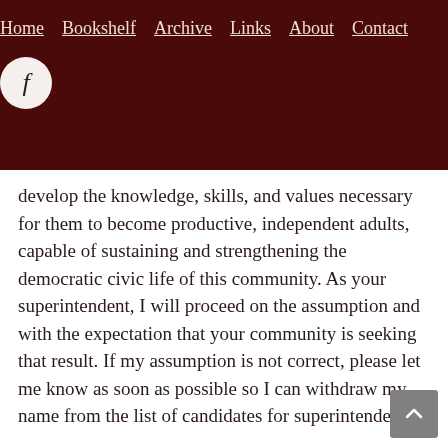Home  Bookshelf  Archive  Links  About  Contact
[Figure (other): Facebook social icon circle button in dark maroon header bar]
develop the knowledge, skills, and values necessary for them to become productive, independent adults, capable of sustaining and strengthening the democratic civic life of this community. As your superintendent, I will proceed on the assumption and with the expectation that your community is seeking that result. If my assumption is not correct, please let me know as soon as possible so I can withdraw my name from the list of candidates for superintendent.
This is important, so I want to repeat my assumption and expectation:
Your public schools are the institutional manifestation of a belief that all children...